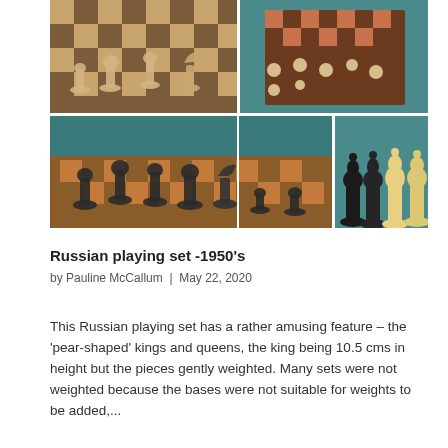[Figure (photo): Four photos of a Russian chess playing set from the 1950s arranged in a 2x2 grid. Top-left: light wood pieces on a chess board close-up. Top-right: overhead view of pieces on board. Bottom-left: dark ebony pieces on board. Bottom-right: four tall pear-shaped kings and queens (two dark, two light) standing side by side.]
Russian playing set -1950's
by Pauline McCallum | May 22, 2020
This Russian playing set has a rather amusing feature – the 'pear-shaped' kings and queens, the king being 10.5 cms in height but the pieces gently weighted. Many sets were not weighted because the bases were not suitable for weights to be added,...